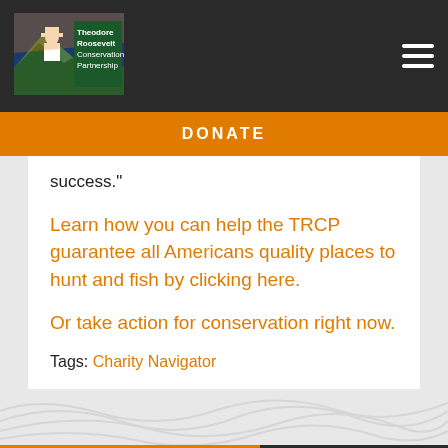[Figure (logo): Theodore Roosevelt Conservation Partnership logo with mountain and hunter silhouette]
DONATE
success."
Learn how you can help the TRCP guarantee all Americans quality places to hunt and fish by clicking here.
Or take action for conservation right now.
Tags: Charity Navigator
DONATE